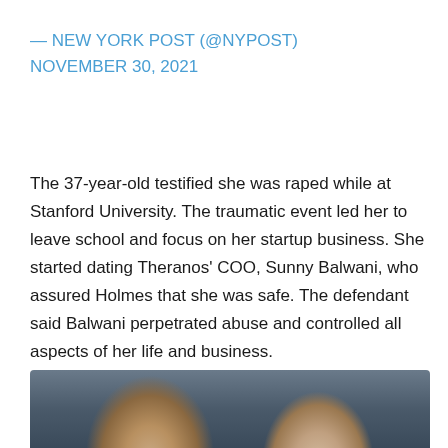— NEW YORK POST (@NYPOST)
NOVEMBER 30, 2021
The 37-year-old testified she was raped while at Stanford University. The traumatic event led her to leave school and focus on her startup business. She started dating Theranos' COO, Sunny Balwani, who assured Holmes that she was safe. The defendant said Balwani perpetrated abuse and controlled all aspects of her life and business.
[Figure (photo): Partial photo showing two people, partially cropped at the bottom of the page]